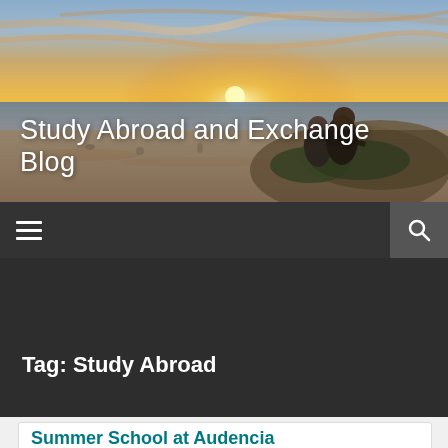[Figure (photo): Beach sunset scene with two people (a couple) sitting on sand dunes looking out toward the ocean. Warm sunset colors in the sky. Sandy beach with a few other people in the background.]
Study Abroad and Exchange Blog
≡  🔍
Tag: Study Abroad
Summer School at Audencia